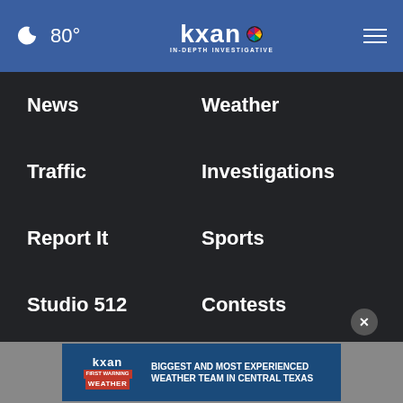80° KXAN IN-DEPTH INVESTIGATIVE
News
Weather
Traffic
Investigations
Report It
Sports
Studio 512
Contests
About Us
Contact Us
About Our Ads
KXAN: FCC Public File
KXAN: C
[Figure (screenshot): KXAN First Warning Weather advertisement banner: BIGGEST AND MOST EXPERIENCED WEATHER TEAM IN CENTRAL TEXAS]